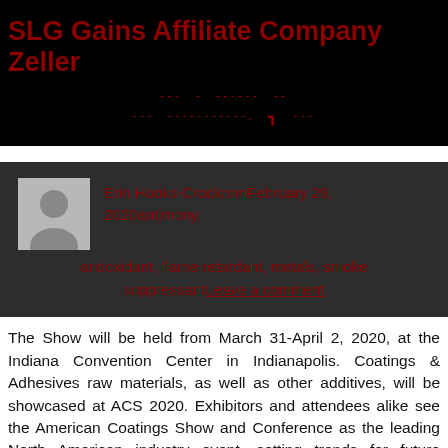SLG Gains Affiliate Company Zeller
--- - ------ --   --- -----------, - ---
Erin Hooks-CrockromFebruary 29, 2020antimony, antioxidant, flame retardant, metals, smoke suppressantLeave a comment
The Show will be held from March 31-April 2, 2020, at the Indiana Convention Center in Indianapolis. Coatings & Adhesives raw materials, as well as other additives, will be showcased at ACS 2020. Exhibitors and attendees alike see the American Coatings Show and Conference as the leading North American industry event, setting trends for future developments in the industry. Offering immediate business opportunities, a complete portfolio of high-grade